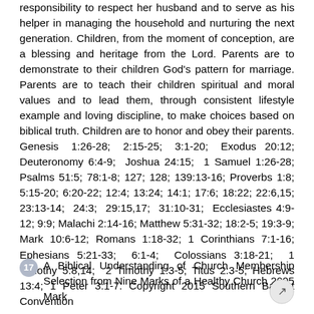responsibility to respect her husband and to serve as his helper in managing the household and nurturing the next generation. Children, from the moment of conception, are a blessing and heritage from the Lord. Parents are to demonstrate to their children God's pattern for marriage. Parents are to teach their children spiritual and moral values and to lead them, through consistent lifestyle example and loving discipline, to make choices based on biblical truth. Children are to honor and obey their parents. Genesis 1:26-28; 2:15-25; 3:1-20; Exodus 20:12; Deuteronomy 6:4-9; Joshua 24:15; 1 Samuel 1:26-28; Psalms 51:5; 78:1-8; 127; 128; 139:13-16; Proverbs 1:8; 5:15-20; 6:20-22; 12:4; 13:24; 14:1; 17:6; 18:22; 22:6,15; 23:13-14; 24:3; 29:15,17; 31:10-31; Ecclesiastes 4:9-12; 9:9; Malachi 2:14-16; Matthew 5:31-32; 18:2-5; 19:3-9; Mark 10:6-12; Romans 1:18-32; 1 Corinthians 7:1-16; Ephesians 5:21-33; 6:1-4; Colossians 3:18-21; 1 Timothy 5:8,14; 2 Timothy 1:3-5; Titus 2:3-5; Hebrews 13:4; 1 Peter 3:1-7. Copyright 2015 Southern Baptist Convention
17 A Biblical Understanding of Church Membership Selection from Nine Marks of a Healthy Church 2005 Mark